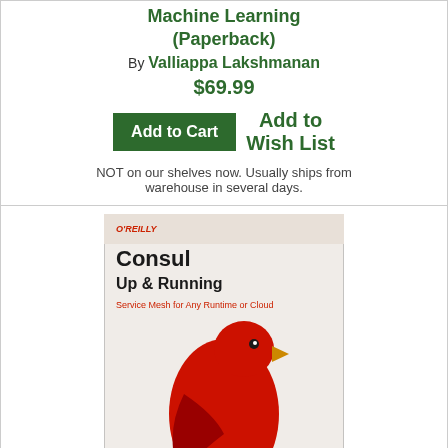Machine Learning (Paperback)
By Valliappa Lakshmanan
$69.99
Add to Cart  Add to Wish List
NOT on our shelves now. Usually ships from warehouse in several days.
[Figure (photo): Book cover of Consul: Up and Running: Service Mesh for Any Runtime or Cloud by Luke Kysow, O'Reilly, featuring a red bird on a branch]
Consul: Up and Running: Service Mesh for Any Runtime or Cloud (Paperback)
By Luke Kysow